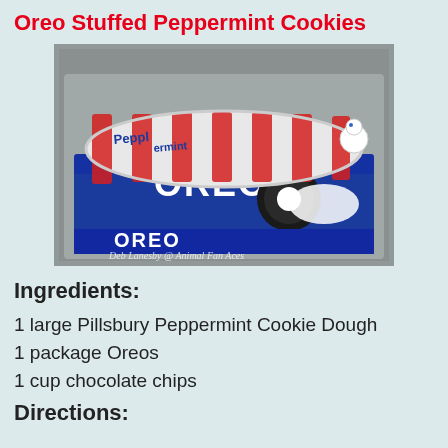Oreo Stuffed Peppermint Cookies
[Figure (photo): Photo of a Pillsbury Peppermint Cookie Dough roll (red and white striped packaging with Pillsbury Doughboy) resting on top of a large blue package of Oreo cookies on a gray tray. Watermark reads: Deb Lanesby @ Animal Fan Aces]
Ingredients:
1 large Pillsbury Peppermint Cookie Dough
1 package Oreos
1 cup chocolate chips
Directions: